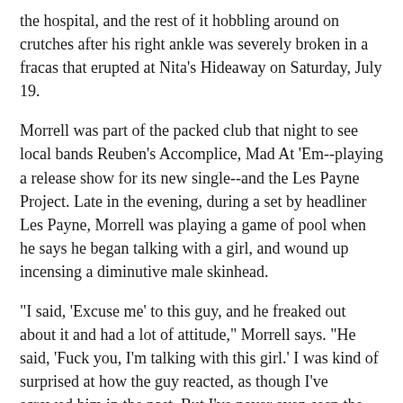the hospital, and the rest of it hobbling around on crutches after his right ankle was severely broken in a fracas that erupted at Nita's Hideaway on Saturday, July 19.
Morrell was part of the packed club that night to see local bands Reuben's Accomplice, Mad At 'Em--playing a release show for its new single--and the Les Payne Project. Late in the evening, during a set by headliner Les Payne, Morrell was playing a game of pool when he says he began talking with a girl, and wound up incensing a diminutive male skinhead.
"I said, 'Excuse me' to this guy, and he freaked out about it and had a lot of attitude," Morrell says. "He said, 'Fuck you, I'm talking with this girl.' I was kind of surprised at how the guy reacted, as though I've screwed him in the past. But I've never even seen the guy.